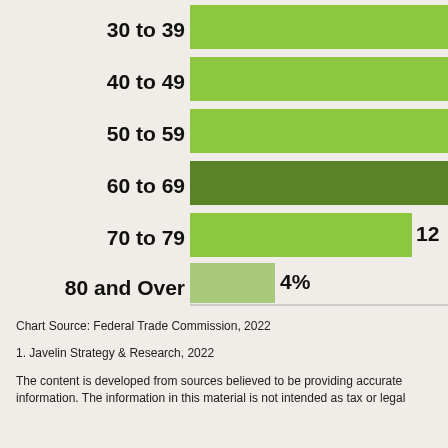[Figure (bar-chart): Identity Fraud by Age Group]
Chart Source: Federal Trade Commission, 2022
1. Javelin Strategy & Research, 2022
The content is developed from sources believed to be providing accurate information. The information in this material is not intended as tax or legal